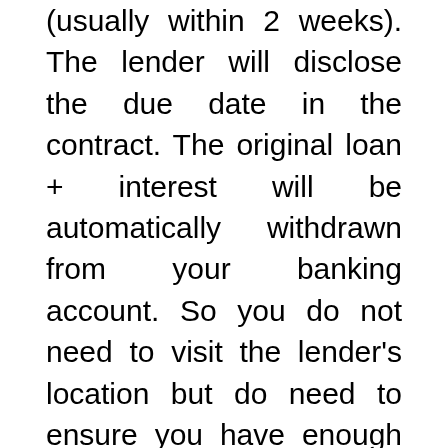(usually within 2 weeks). The lender will disclose the due date in the contract. The original loan + interest will be automatically withdrawn from your banking account. So you do not need to visit the lender's location but do need to ensure you have enough money on your account.
If you fail with your payment due to any reason, Mr Payday will charge a fee. The exact amount of penalty will be mentioned in the contract and depend on your location. You will be charged interest daily as long as you have a loan. If you feel that you will not be able to repay your payday loan on the due date, you should contact the lender immediately to discuss a loan extension. Besides,